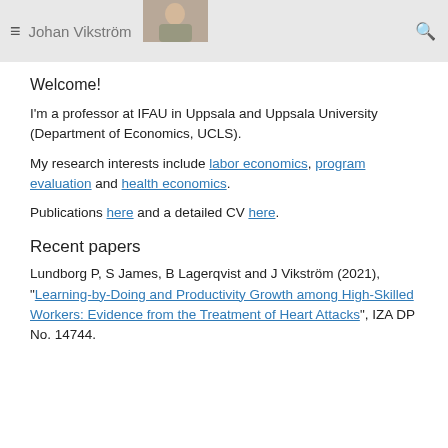Johan Vikström
Welcome!
I'm a professor at IFAU in Uppsala and Uppsala University (Department of Economics, UCLS).
My research interests include labor economics, program evaluation and health economics.
Publications here and a detailed CV here.
Recent papers
Lundborg P, S James, B Lagerqvist and J Vikström (2021), "Learning-by-Doing and Productivity Growth among High-Skilled Workers: Evidence from the Treatment of Heart Attacks", IZA DP No. 14744.